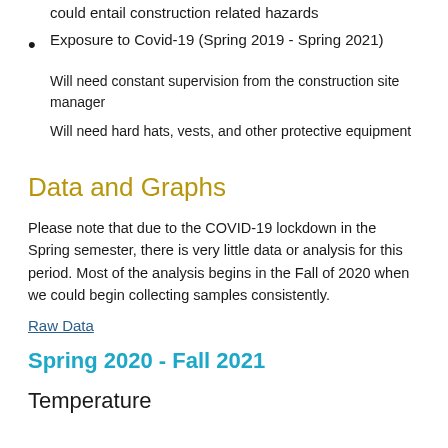Collecting samples in an active construction zone could entail construction related hazards
Exposure to Covid-19 (Spring 2019 - Spring 2021)
Will need constant supervision from the construction site manager
Will need hard hats, vests, and other protective equipment
Data and Graphs
Please note that due to the COVID-19 lockdown in the Spring semester, there is very little data or analysis for this period. Most of the analysis begins in the Fall of 2020 when we could begin collecting samples consistently.
Raw Data
Spring 2020 - Fall 2021
Temperature